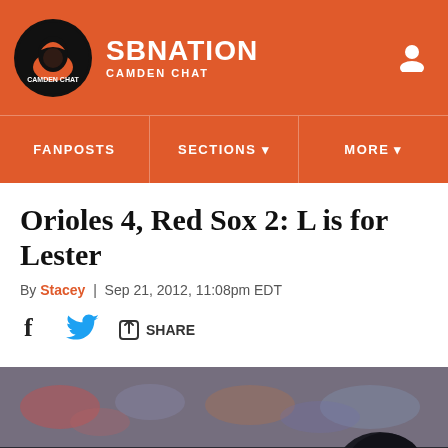SBNATION CAMDEN CHAT
FANPOSTS | SECTIONS | MORE
Orioles 4, Red Sox 2: L is for Lester
By Stacey | Sep 21, 2012, 11:08pm EDT
SHARE
[Figure (photo): Baseball player in Baltimore Orioles helmet batting, blurred crowd in background]